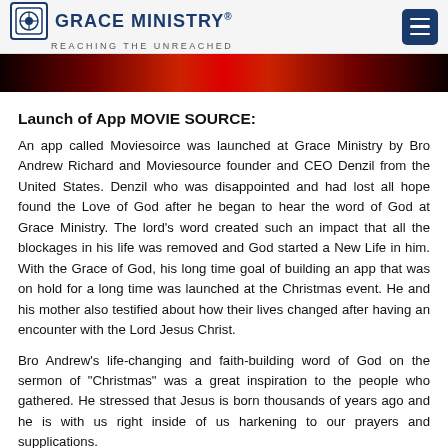GRACE MINISTRY® REACHING THE UNREACHED
[Figure (photo): Dark red/crimson banner image at top of article]
Launch of App MOVIE SOURCE:
An app called Moviesoirce was launched at Grace Ministry by Bro Andrew Richard and Moviesource founder and CEO Denzil from the United States. Denzil who was disappointed and had lost all hope found the Love of God after he began to hear the word of God at Grace Ministry. The lord's word created such an impact that all the blockages in his life was removed and God started a New Life in him. With the Grace of God, his long time goal of building an app that was on hold for a long time was launched at the Christmas event. He and his mother also testified about how their lives changed after having an encounter with the Lord Jesus Christ.
Bro Andrew's life-changing and faith-building word of God on the sermon of "Christmas" was a great inspiration to the people who gathered. He stressed that Jesus is born thousands of years ago and he is with us right inside of us harkening to our prayers and supplications.
Clothing and groceries were distributed to the families by Bro